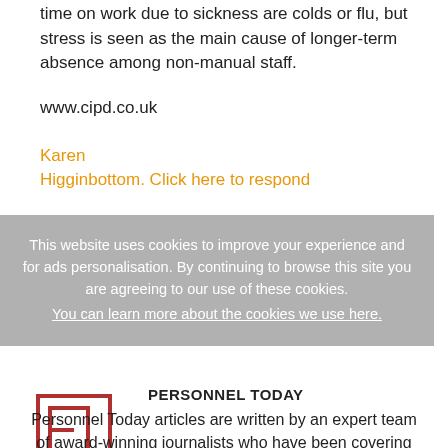time on work due to sickness are colds or flu, but stress is seen as the main cause of longer-term absence among non-manual staff.
www.cipd.co.uk
Karen
Higginbottom. Click here to respond
This website uses cookies to improve your experience and for ads personalisation. By continuing to browse this site you are agreeing to our use of these cookies. You can learn more about the cookies we use here.
[Figure (logo): Personnel Today logo - a square bracket letter P mark in red/dark red outline]
PERSONNEL TODAY
Personnel Today articles are written by an expert team of award-winning journalists who have been covering HR and L&D for many years.